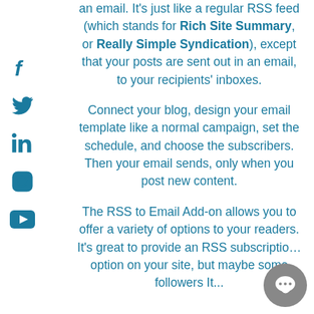an email. It's just like a regular RSS feed (which stands for Rich Site Summary, or Really Simple Syndication), except that your posts are sent out in an email, to your recipients' inboxes.
Connect your blog, design your email template like a normal campaign, set the schedule, and choose the subscribers. Then your email sends, only when you post new content.
The RSS to Email Add-on allows you to offer a variety of options to your readers. It's great to provide an RSS subscription option on your site, but maybe some followers It...
[Figure (illustration): Social media icons on the left side: Facebook (f), Twitter (bird), LinkedIn (in), Instagram (circle camera), YouTube (play button) — all in teal/dark cyan color]
[Figure (illustration): Gray circular chat bubble icon with ellipsis in bottom-right corner of page]